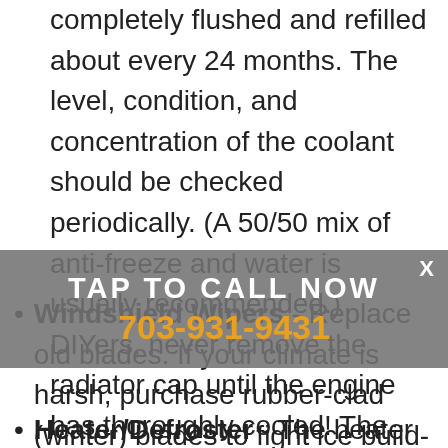completely flushed and refilled about every 24 months. The level, condition, and concentration of the coolant should be checked periodically. (A 50/50 mix of anti-freeze and water is usually recommended.) DIYers, never remove the radiator cap until the engine has thoroughly cooled! The tightness and condition of drive belts, clamps, and hoses should be checked by a pro.
Windshield Wipers - Replace old blades. If your climate is harsh, purchase rubber-clad (winter) blades to fight ice build-up. Stock up on windshield washer solvent-you'll be surprised how much you use. Carry an ice-scraper.
Heater/Defroster - The heater and defroster must be
[Figure (other): Call-to-action overlay banner with text 'TAP TO CALL NOW' and phone number '703-931-9431' with a close X button]